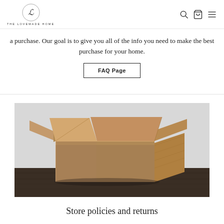THE LOVEMADE HOME
a purchase. Our goal is to give you all of the info you need to make the best purchase for your home.
FAQ Page
[Figure (photo): An open cardboard shipping box sitting on a dark wooden floor against a light gray wall.]
Store policies and returns